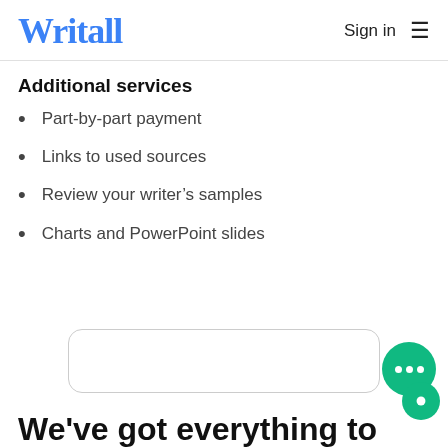Writall  Sign in ☰
Additional services
Part-by-part payment
Links to used sources
Review your writer's samples
Charts and PowerPoint slides
We've got everything to